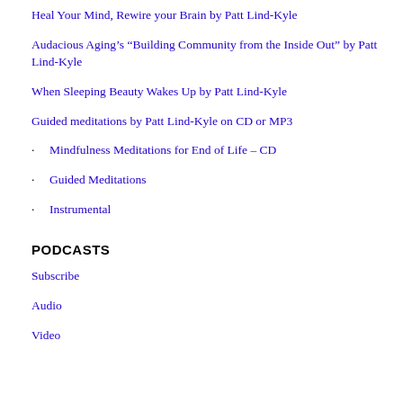Heal Your Mind, Rewire your Brain by Patt Lind-Kyle
Audacious Aging’s “Building Community from the Inside Out” by Patt Lind-Kyle
When Sleeping Beauty Wakes Up by Patt Lind-Kyle
Guided meditations by Patt Lind-Kyle on CD or MP3
Mindfulness Meditations for End of Life – CD
Guided Meditations
Instrumental
PODCASTS
Subscribe
Audio
Video